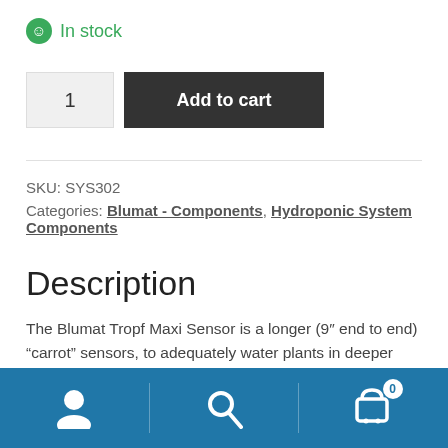In stock
[Figure (screenshot): Add to cart UI with quantity box showing 1 and dark Add to cart button]
SKU: SYS302
Categories: Blumat - Components, Hydroponic System Components
Description
The Blumat Tropf Maxi Sensor is a longer (9″ end to end) “carrot” sensors, to adequately water plants in deeper
[Figure (screenshot): Bottom navigation bar with user, search, and cart icons on blue background]